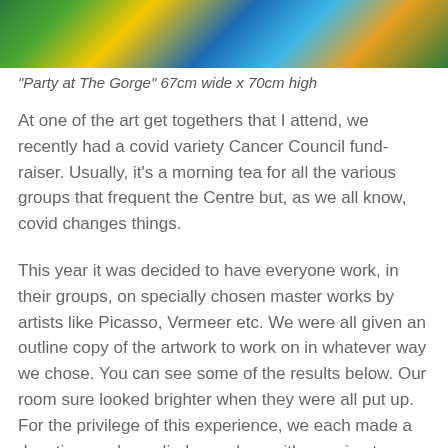[Figure (photo): Colorful painting showing figures at The Gorge, with vivid blues, greens, yellows and oranges]
"Party at The Gorge" 67cm wide x 70cm high
At one of the art get togethers that I attend, we recently had a covid variety Cancer Council fund-raiser. Usually, it's a morning tea for all the various groups that frequent the Centre but, as we all know, covid changes things.
This year it was decided to have everyone work, in their groups, on specially chosen master works by artists like Picasso, Vermeer etc. We were all given an outline copy of the artwork to work on in whatever way we chose. You can see some of the results below. Our room sure looked brighter when they were all put up. For the privilege of this experience, we each made a donation, and supplied ourselves with morning tea.